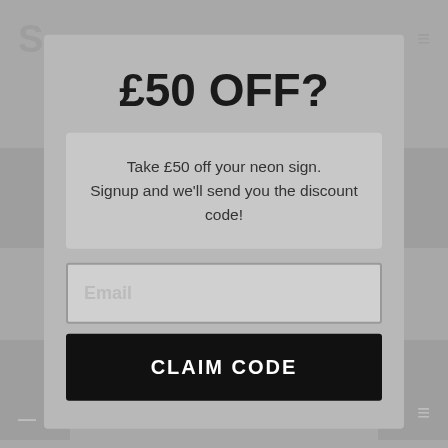£50 OFF?
Take £50 off your neon sign.
Signup and we'll send you the discount code!
Email
CLAIM CODE